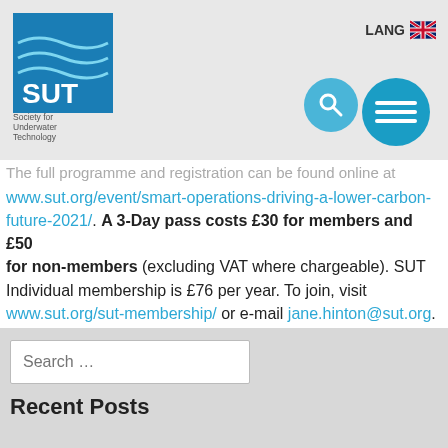SUT Society for Underwater Technology — LANG header with search and menu icons
The full programme and registration can be found online at www.sut.org/event/smart-operations-driving-a-lower-carbon-future-2021/. A 3-Day pass costs £30 for members and £50 for non-members (excluding VAT where chargeable). SUT Individual membership is £76 per year. To join, visit www.sut.org/sut-membership/ or e-mail jane.hinton@sut.org.
Posted in Uncategorized
← Older posts
Search …
Recent Posts